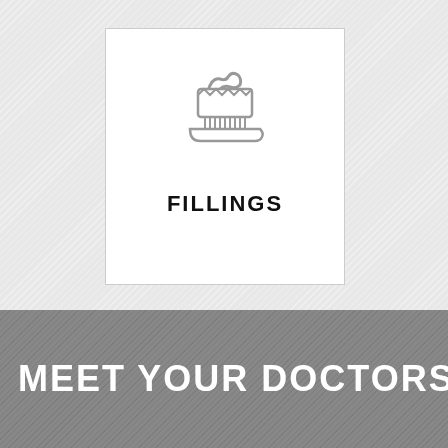[Figure (illustration): Toothbrush with toothpaste icon, drawn in gray outline style, centered inside a white card on a light gray diagonal-striped background]
FILLINGS
MEET YOUR DOCTORS